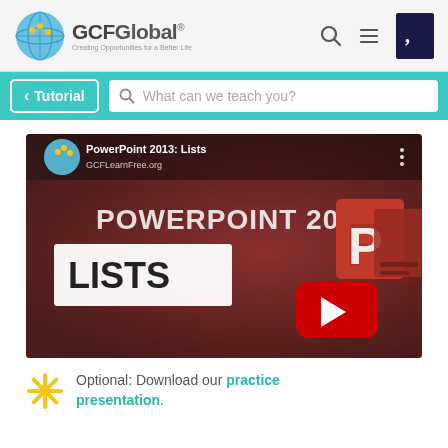GCFGlobal - Creating Opportunities for a Better Life
[Figure (screenshot): GCFGlobal website header with logo, search icon, menu icon, and Goodwill icon]
[Figure (screenshot): Teal navigation bar with Tutorial button and search box saying 'What can we teach you?']
[Figure (screenshot): YouTube video thumbnail for PowerPoint 2013: Lists showing POWERPOINT 2013 title, LISTS label, red play button, and PowerPoint logo icons]
Optional: Download our practice presentation.